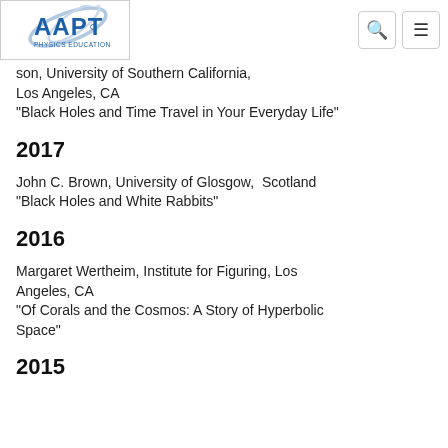AAPT Physics Education [logo] [search icon] [menu icon]
son, University of Southern California, Los Angeles, CA
"Black Holes and Time Travel in Your Everyday Life"
2017
John C. Brown, University of Glosgow,  Scotland
"Black Holes and White Rabbits"
2016
Margaret Wertheim, Institute for Figuring, Los Angeles, CA
"Of Corals and the Cosmos: A Story of Hyperbolic Space"
2015